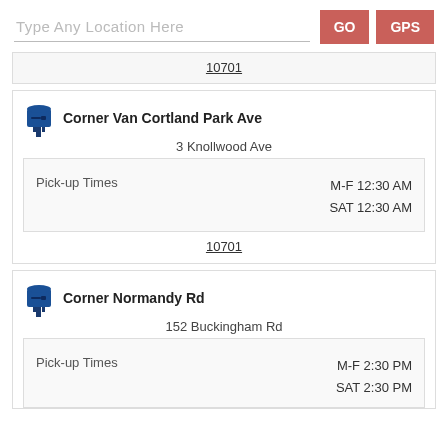Type Any Location Here
GO
GPS
10701
Corner Van Cortland Park Ave
3 Knollwood Ave
Pick-up Times  M-F 12:30 AM  SAT 12:30 AM
10701
Corner Normandy Rd
152 Buckingham Rd
Pick-up Times  M-F 2:30 PM  SAT 2:30 PM